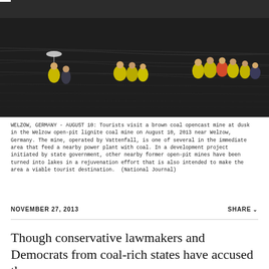[Figure (photo): People wearing yellow rain ponchos and white hard hats standing on a large brown coal open-pit mine at dusk in Welzow, Germany. Dark earth and tire tracks visible in background.]
WELZOW, GERMANY - AUGUST 10: Tourists visit a brown coal opencast mine at dusk in the Welzow open-pit lignite coal mine on August 10, 2013 near Welzow, Germany. The mine, operated by Vattenfall, is one of several in the immediate area that feed a nearby power plant with coal. In a development project initiated by state government, other nearby former open-pit mines have been turned into lakes in a rejuvenation effort that is also intended to make the area a viable tourist destination.  (National Journal)
NOVEMBER 27, 2013
SHARE
Though conservative lawmakers and Democrats from coal-rich states have accused the